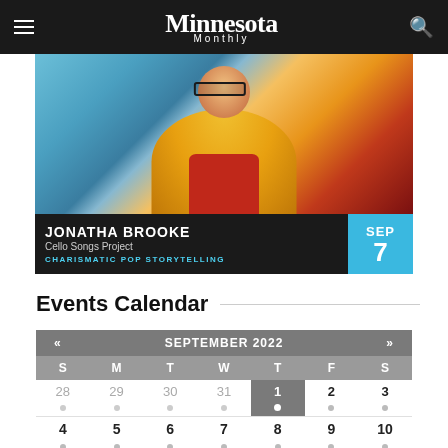Minnesota Monthly
[Figure (photo): Advertisement for Jonatha Brooke - Cello Songs Project. Photo shows a woman in yellow jacket and red top wearing black glasses, seated. Text overlay: JONATHA BROOKE / Cello Songs Project / CHARISMATIC POP STORYTELLING. Date box: SEP 7.]
Events Calendar
| S | M | T | W | T | F | S |
| --- | --- | --- | --- | --- | --- | --- |
| 28 | 29 | 30 | 31 | 1 | 2 | 3 |
| 4 | 5 | 6 | 7 | 8 | 9 | 10 |